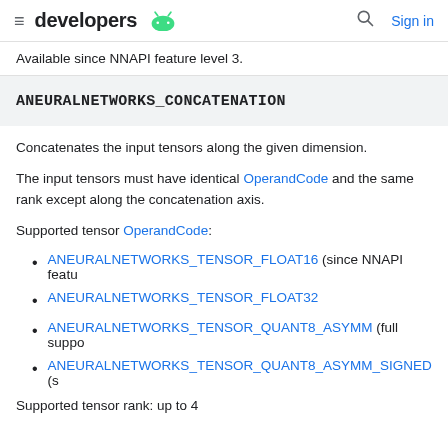≡ developers 🤖  🔍 Sign in
Available since NNAPI feature level 3.
ANEURALNETWORKS_CONCATENATION
Concatenates the input tensors along the given dimension.
The input tensors must have identical OperandCode and the same rank except along the concatenation axis.
Supported tensor OperandCode:
ANEURALNETWORKS_TENSOR_FLOAT16 (since NNAPI feature level 3)
ANEURALNETWORKS_TENSOR_FLOAT32
ANEURALNETWORKS_TENSOR_QUANT8_ASYMM (full support since NNAPI feature level 3)
ANEURALNETWORKS_TENSOR_QUANT8_ASYMM_SIGNED (since NNAPI feature level 4)
Supported tensor rank: up to 4